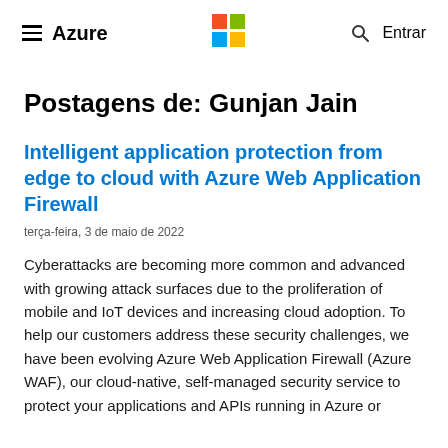≡ Azure | Microsoft Logo | 🔍 Entrar
Postagens de: Gunjan Jain
Intelligent application protection from edge to cloud with Azure Web Application Firewall
terça-feira, 3 de maio de 2022
Cyberattacks are becoming more common and advanced with growing attack surfaces due to the proliferation of mobile and IoT devices and increasing cloud adoption. To help our customers address these security challenges, we have been evolving Azure Web Application Firewall (Azure WAF), our cloud-native, self-managed security service to protect your applications and APIs running in Azure or